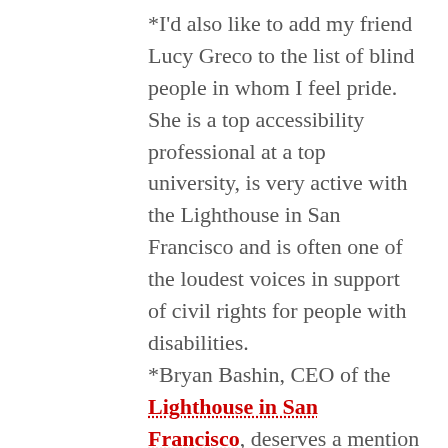*I'd also like to add my friend Lucy Greco to the list of blind people in whom I feel pride. She is a top accessibility professional at a top university, is very active with the Lighthouse in San Francisco and is often one of the loudest voices in support of civil rights for people with disabilities.
*Bryan Bashin, CEO of the Lighthouse in San Francisco, deserves a mention as a person who makes me feel pride. In my reasonably well informed opinion, the LightHouse in SF is an excellent example of how good a blindness